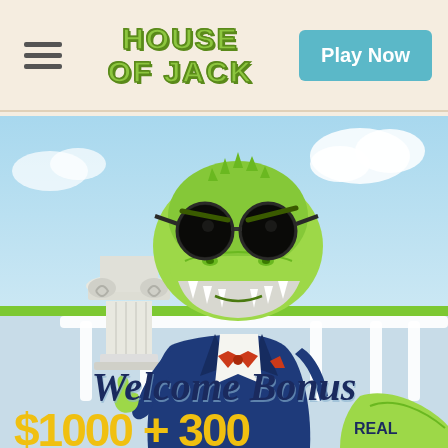HOUSE OF JACK — Play Now
[Figure (illustration): Cartoon crocodile mascot wearing sunglasses, a navy blue tuxedo suit with red bow tie, giving a thumbs up. Standing in front of a white classical column/pillar and a white balustrade terrace with a blue sky background. Text overlay reads 'Welcome Bonus $1000 + 300 REAL']
Welcome Bonus
$1000 + 300 REAL